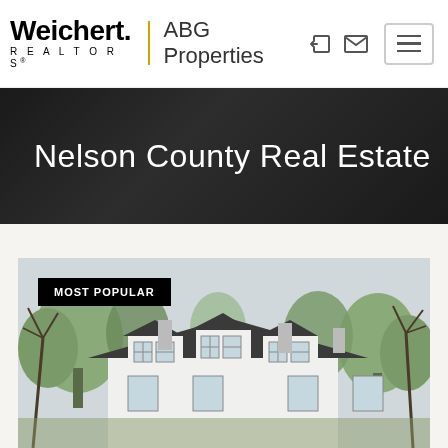[Figure (logo): Weichert Realtors ABG Properties logo with yellow vertical divider and hamburger menu button, plus login and email icons]
Nelson County Real Estate
[Figure (photo): Aerial/exterior photo of a large white colonial-style house with dark roof, dormers, chimneys, surrounded by bare trees in early spring]
MOST POPULAR